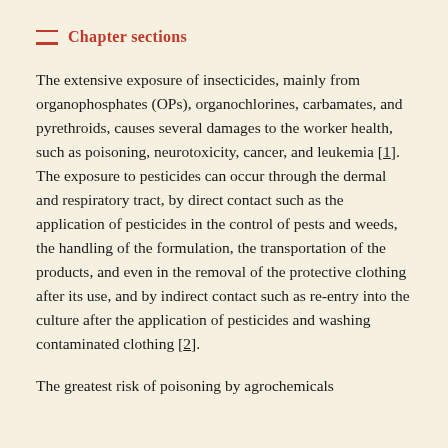Chapter sections
The extensive exposure of insecticides, mainly from organophosphates (OPs), organochlorines, carbamates, and pyrethroids, causes several damages to the worker health, such as poisoning, neurotoxicity, cancer, and leukemia [1]. The exposure to pesticides can occur through the dermal and respiratory tract, by direct contact such as the application of pesticides in the control of pests and weeds, the handling of the formulation, the transportation of the products, and even in the removal of the protective clothing after its use, and by indirect contact such as re-entry into the culture after the application of pesticides and washing contaminated clothing [2].
The greatest risk of poisoning by agrochemicals